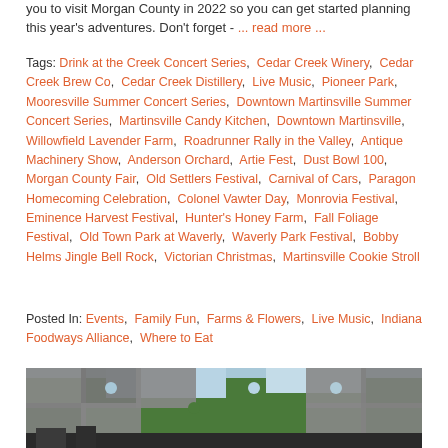you to visit Morgan County in 2022 so you can get started planning this year's adventures. Don't forget - ... read more ...
Tags: Drink at the Creek Concert Series, Cedar Creek Winery, Cedar Creek Brew Co, Cedar Creek Distillery, Live Music, Pioneer Park, Mooresville Summer Concert Series, Downtown Martinsville Summer Concert Series, Martinsville Candy Kitchen, Downtown Martinsville, Willowfield Lavender Farm, Roadrunner Rally in the Valley, Antique Machinery Show, Anderson Orchard, Artie Fest, Dust Bowl 100, Morgan County Fair, Old Settlers Festival, Carnival of Cars, Paragon Homecoming Celebration, Colonel Vawter Day, Monrovia Festival, Eminence Harvest Festival, Hunter's Honey Farm, Fall Foliage Festival, Old Town Park at Waverly, Waverly Park Festival, Bobby Helms Jingle Bell Rock, Victorian Christmas, Martinsville Cookie Stroll
Posted In: Events, Family Fun, Farms & Flowers, Live Music, Indiana Foodways Alliance, Where to Eat
[Figure (photo): A puzzle-themed photo showing trees and landscape, partially obscured by gray puzzle piece shapes overlaid on the image.]